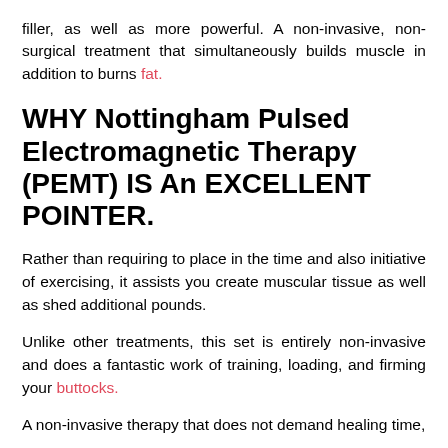filler, as well as more powerful. A non-invasive, non-surgical treatment that simultaneously builds muscle in addition to burns fat.
WHY Nottingham Pulsed Electromagnetic Therapy (PEMT) IS An EXCELLENT POINTER.
Rather than requiring to place in the time and also initiative of exercising, it assists you create muscular tissue as well as shed additional pounds.
Unlike other treatments, this set is entirely non-invasive and does a fantastic work of training, loading, and firming your buttocks.
A non-invasive therapy that does not demand healing time,